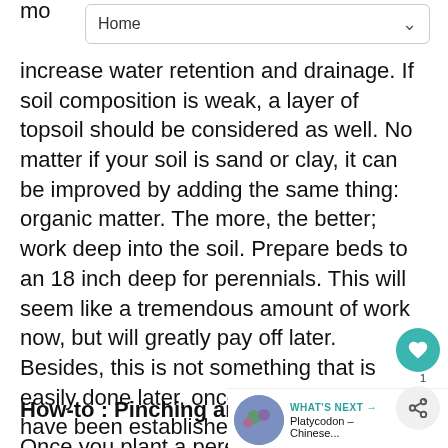Home
increase water retention and drainage. If soil composition is weak, a layer of topsoil should be considered as well. No matter if your soil is sand or clay, it can be improved by adding the same thing: organic matter. The more, the better; work deep into the soil. Prepare beds to an 18 inch deep for perennials. This will seem like a tremendous amount of work now, but will greatly pay off later. Besides, this is not something that is easily done later, once plants have been established.
How-to : Pinching and Thinning F…
Once you plant a perennial, it does not mean